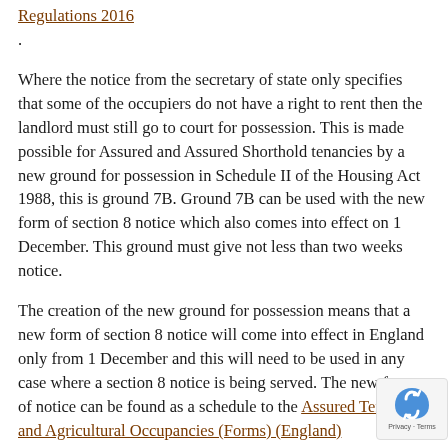Regulations 2016.
Where the notice from the secretary of state only specifies that some of the occupiers do not have a right to rent then the landlord must still go to court for possession. This is made possible for Assured and Assured Shorthold tenancies by a new ground for possession in Schedule II of the Housing Act 1988, this is ground 7B. Ground 7B can be used with the new form of section 8 notice which also comes into effect on 1 December. This ground must give not less than two weeks notice.
The creation of the new ground for possession means that a new form of section 8 notice will come into effect in England only from 1 December and this will need to be used in any case where a section 8 notice is being served. The new form of notice can be found as a schedule to the Assured Tenancies and Agricultural Occupancies (Forms) (England) (Amendment No. 2) Regulations 2016.